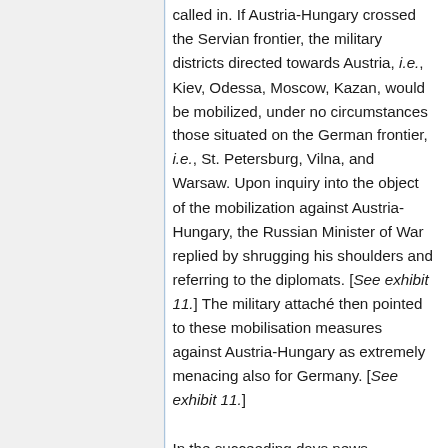called in. If Austria-Hungary crossed the Servian frontier, the military districts directed towards Austria, i.e., Kiev, Odessa, Moscow, Kazan, would be mobilized, under no circumstances those situated on the German frontier, i.e., St. Petersburg, Vilna, and Warsaw. Upon inquiry into the object of the mobilization against Austria-Hungary, the Russian Minister of War replied by shrugging his shoulders and referring to the diplomats. [See exhibit 11.] The military attaché then pointed to these mobilisation measures against Austria-Hungary as extremely menacing also for Germany. [See exhibit 11.]
In the succeeding days news concerning Russian mobilization came at a rapid rate. Among it was also news about